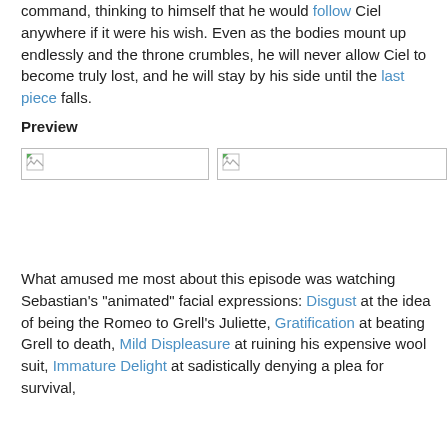command, thinking to himself that he would follow Ciel anywhere if it were his wish. Even as the bodies mount up endlessly and the throne crumbles, he will never allow Ciel to become truly lost, and he will stay by his side until the last piece falls.
Preview
[Figure (photo): Two preview image placeholders shown as broken image icons side by side]
What amused me most about this episode was watching Sebastian’s “animated” facial expressions: Disgust at the idea of being the Romeo to Grell’s Juliette, Gratification at beating Grell to death, Mild Displeasure at ruining his expensive wool suit, Immature Delight at sadistically denying a plea for survival,